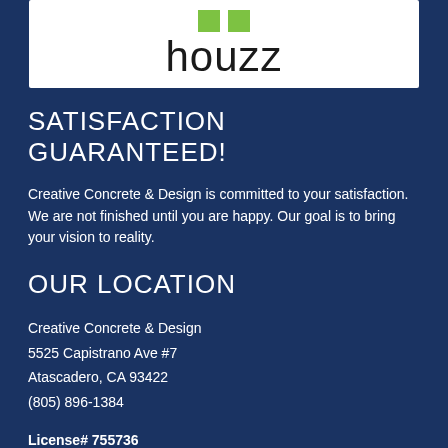[Figure (logo): Houzz logo with two green squares above the word 'houzz' in dark text on white background]
SATISFACTION GUARANTEED!
Creative Concrete & Design is committed to your satisfaction. We are not finished until you are happy. Our goal is to bring your vision to reality.
OUR LOCATION
Creative Concrete & Design
5525 Capistrano Ave #7
Atascadero, CA 93422
(805) 896-1384
License# 755736